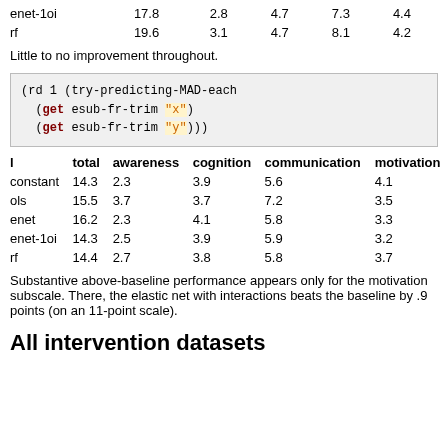|  | total | awareness | cognition | communication | motivation |
| --- | --- | --- | --- | --- | --- |
| enet-1oi | 17.8 | 2.8 | 4.7 | 7.3 | 4.4 |
| rf | 19.6 | 3.1 | 4.7 | 8.1 | 4.2 |
Little to no improvement throughout.
[Figure (screenshot): Code block: (rd 1 (try-predicting-MAD-each (get esub-fr-trim "x") (get esub-fr-trim "y")))]
| l | total | awareness | cognition | communication | motivation |
| --- | --- | --- | --- | --- | --- |
| constant | 14.3 | 2.3 | 3.9 | 5.6 | 4.1 |
| ols | 15.5 | 3.7 | 3.7 | 7.2 | 3.5 |
| enet | 16.2 | 2.3 | 4.1 | 5.8 | 3.3 |
| enet-1oi | 14.3 | 2.5 | 3.9 | 5.9 | 3.2 |
| rf | 14.4 | 2.7 | 3.8 | 5.8 | 3.7 |
Substantive above-baseline performance appears only for the motivation subscale. There, the elastic net with interactions beats the baseline by .9 points (on an 11-point scale).
All intervention datasets